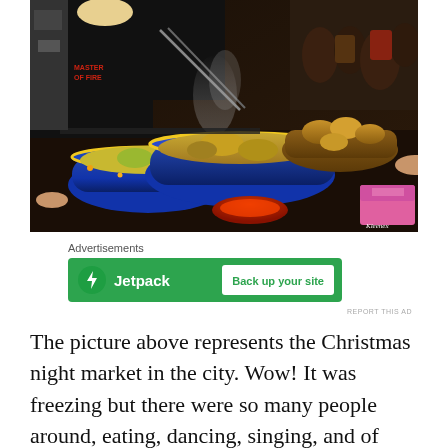[Figure (photo): A busy Christmas night market food stall showing vendors in black t-shirts using tongs over a grill, with large decorative Polish-style bowls filled with food, bread rolls in a wooden basket, and a crowd of people in the background.]
Advertisements
[Figure (other): Jetpack advertisement banner with green background, Jetpack logo and bolt icon on the left, and a white 'Back up your site' button on the right.]
REPORT THIS AD
The picture above represents the Christmas night market in the city. Wow! It was freezing but there were so many people around, eating, dancing, singing, and of